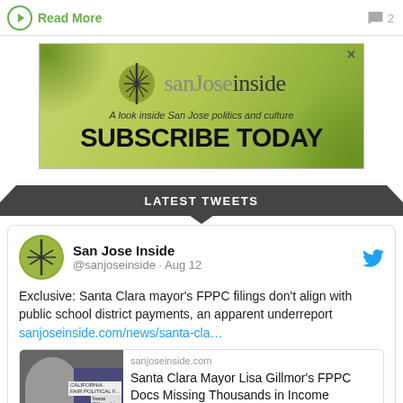Read More   2
[Figure (illustration): San Jose Inside advertisement banner with logo, tagline 'A look inside San Jose politics and culture', and 'SUBSCRIBE TODAY' text on green background]
LATEST TWEETS
San Jose Inside @sanjoseinside · Aug 12
Exclusive: Santa Clara mayor's FPPC filings don't align with public school district payments, an apparent underreport sanjoseinside.com/news/santa-cla…
sanjoseinside.com
Santa Clara Mayor Lisa Gillmor's FPPC Docs Missing Thousands in Income